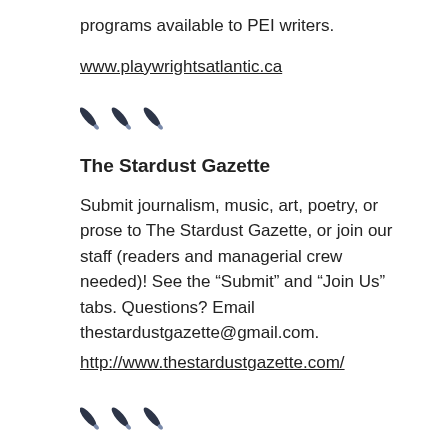programs available to PEI writers.
www.playwrightsatlantic.ca
[Figure (illustration): Three decorative pen/quill divider marks]
The Stardust Gazette
Submit journalism, music, art, poetry, or prose to The Stardust Gazette, or join our staff (readers and managerial crew needed)! See the “Submit” and “Join Us” tabs. Questions? Email thestardustgazette@gmail.com.
http://www.thestardustgazette.com/
[Figure (illustration): Three decorative pen/quill divider marks]